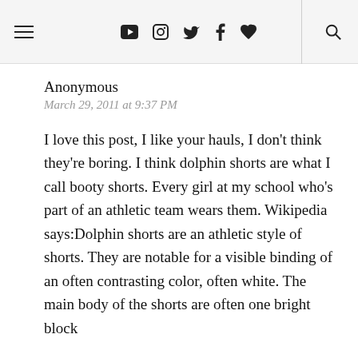☰ ▶ 📷 🐦 f ♥ 🔍
Anonymous
March 29, 2011 at 9:37 PM
I love this post, I like your hauls, I don't think they're boring. I think dolphin shorts are what I call booty shorts. Every girl at my school who's part of an athletic team wears them. Wikipedia says:Dolphin shorts are an athletic style of shorts. They are notable for a visible binding of an often contrasting color, often white. The main body of the shorts are often one bright block